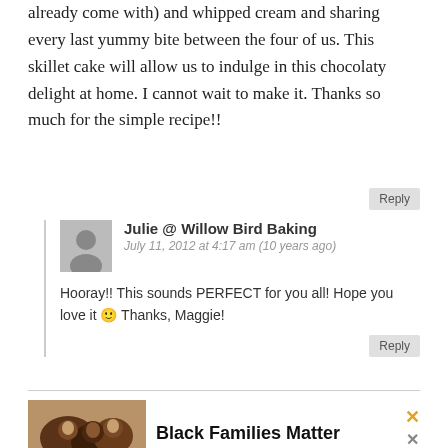already come with) and whipped cream and sharing every last yummy bite between the four of us. This skillet cake will allow us to indulge in this chocolaty delight at home. I cannot wait to make it. Thanks so much for the simple recipe!!
Reply
Julie @ Willow Bird Baking
July 11, 2012 at 4:17 am (10 years ago)
Hooray!! This sounds PERFECT for you all! Hope you love it 🙂 Thanks, Maggie!
Reply
[Figure (photo): Advertisement banner showing three smiling people with text 'Black Families Matter' and close buttons]